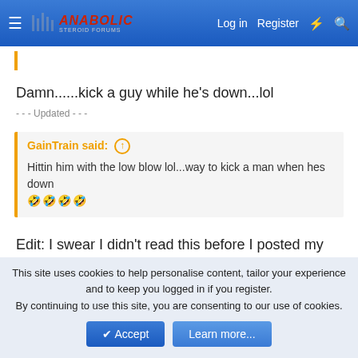Anabolic Steroid Forums — Log in | Register
Damn......kick a guy while he's down...lol
- - - Updated - - -
GainTrain said: ⊕ Hittin him with the low blow lol...way to kick a man when hes down 🤣🤣🤣🤣
Edit: I swear I didn't read this before I posted my last reply....lolz
This site uses cookies to help personalise content, tailor your experience and to keep you logged in if you register. By continuing to use this site, you are consenting to our use of cookies.